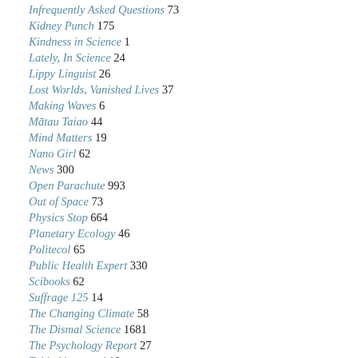Infrequently Asked Questions 73
Kidney Punch 175
Kindness in Science 1
Lately, In Science 24
Lippy Linguist 26
Lost Worlds, Vanished Lives 37
Making Waves 6
Mātau Taiao 44
Mind Matters 19
Nano Girl 62
News 300
Open Parachute 993
Out of Space 73
Physics Stop 664
Planetary Ecology 46
Politecol 65
Public Health Expert 330
Scibooks 62
Suffrage 125 14
The Changing Climate 58
The Dismal Science 1681
The Psychology Report 27
Tuhia ki te rangi 10